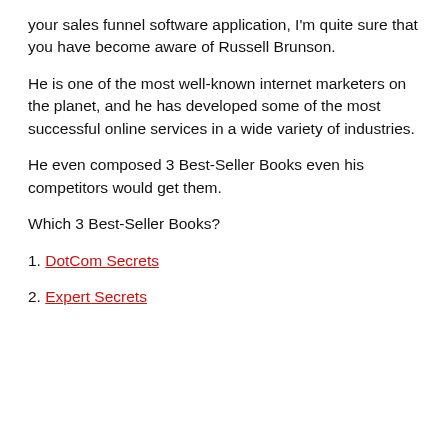your sales funnel software application, I'm quite sure that you have become aware of Russell Brunson.
He is one of the most well-known internet marketers on the planet, and he has developed some of the most successful online services in a wide variety of industries.
He even composed 3 Best-Seller Books even his competitors would get them.
Which 3 Best-Seller Books?
1. DotCom Secrets
2. Expert Secrets